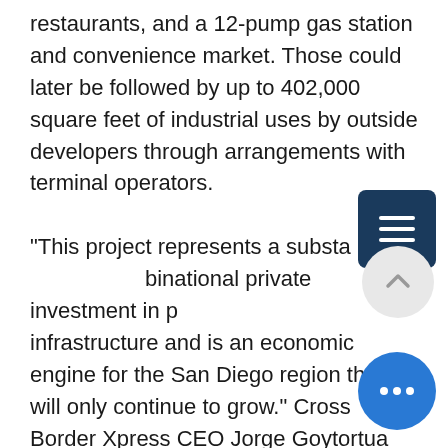restaurants, and a 12-pump gas station and convenience market. Those could later be followed by up to 402,000 square feet of industrial uses by outside developers through arrangements with terminal operators.

"This project represents a substantial binational private investment in public infrastructure and is an economic engine for the San Diego region that will only continue to grow," Cross Border Xpress CEO Jorge Goytortua said during the planning commission's May 13 meeting. Work on the new elements could begin before year's end, officials said.
Cross Border Xpress operators have not divulged expected costs for the